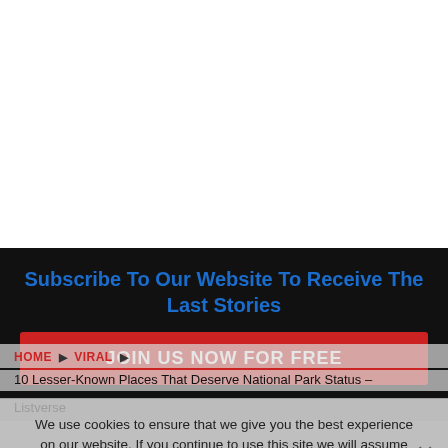[Figure (other): White blank area at top of page]
Subscribe To Our Website To Receive The Last Stories
JOIN US NOW FOR FREE
We use cookies to ensure that we give you the best experience on our website. If you continue to use this site we will assume that you are happy with it.
I Agree  Privacy policy
HOME ▶ VIRAL ▶
10 Lesser-Known Places That Deserve National Park Status – Listverse